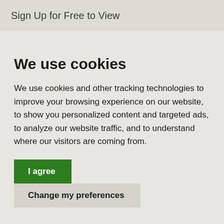Sign Up for Free to View
We use cookies
We use cookies and other tracking technologies to improve your browsing experience on our website, to show you personalized content and targeted ads, to analyze our website traffic, and to understand where our visitors are coming from.
I agree
Change my preferences